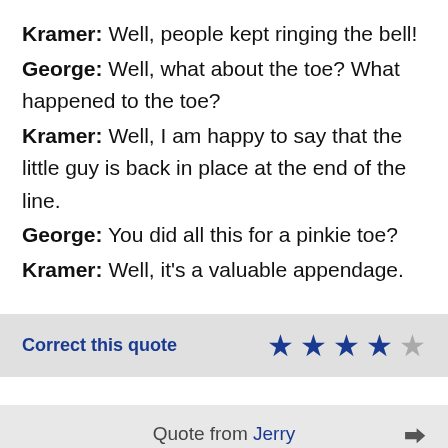Kramer: Well, people kept ringing the bell!
George: Well, what about the toe? What happened to the toe?
Kramer: Well, I am happy to say that the little guy is back in place at the end of the line.
George: You did all this for a pinkie toe?
Kramer: Well, it's a valuable appendage.
Correct this quote [4 out of 5 stars rating]
Quote from Jerry [share icon]
Jerry: Elaine, listen, tell me if you think this is